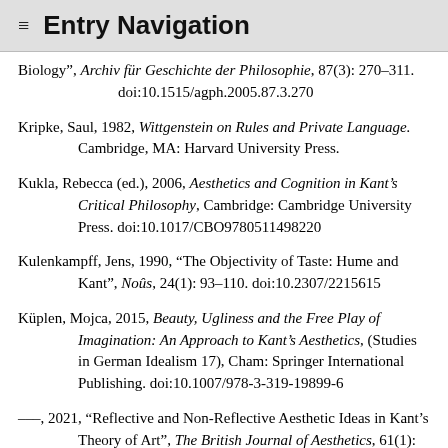≡ Entry Navigation
Biology", Archiv für Geschichte der Philosophie, 87(3): 270–311. doi:10.1515/agph.2005.87.3.270
Kripke, Saul, 1982, Wittgenstein on Rules and Private Language. Cambridge, MA: Harvard University Press.
Kukla, Rebecca (ed.), 2006, Aesthetics and Cognition in Kant's Critical Philosophy, Cambridge: Cambridge University Press. doi:10.1017/CBO9780511498220
Kulenkampff, Jens, 1990, "The Objectivity of Taste: Hume and Kant", Noûs, 24(1): 93–110. doi:10.2307/2215615
Küplen, Mojca, 2015, Beauty, Ugliness and the Free Play of Imagination: An Approach to Kant's Aesthetics, (Studies in German Idealism 17), Cham: Springer International Publishing. doi:10.1007/978-3-319-19899-6
–––, 2021, "Reflective and Non-Reflective Aesthetic Ideas in Kant's Theory of Art", The British Journal of Aesthetics, 61(1): 1–16.